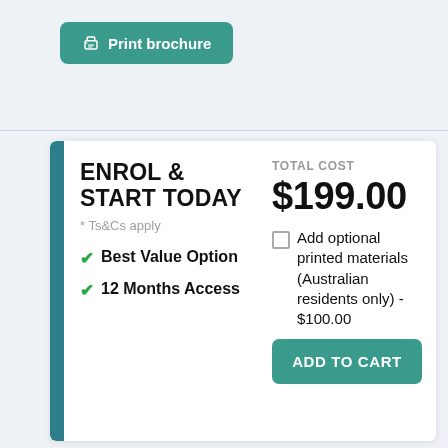Print brochure
ENROL & START TODAY
* Ts&Cs apply
Best Value Option
12 Months Access
TOTAL COST
$199.00
Add optional printed materials (Australian residents only) - $100.00
ADD TO CART